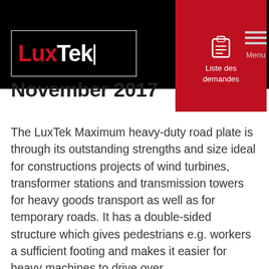LuxTek — Liste des demandes | Menu
November 2017
The LuxTek Maximum heavy-duty road plate is through its outstanding strengths and size ideal for constructions projects of wind turbines, transformer stations and transmission towers for heavy goods transport as well as for temporary roads. It has a double-sided structure which gives pedestrians e.g. workers a sufficient footing and makes it easier for heavy machines to drive over.